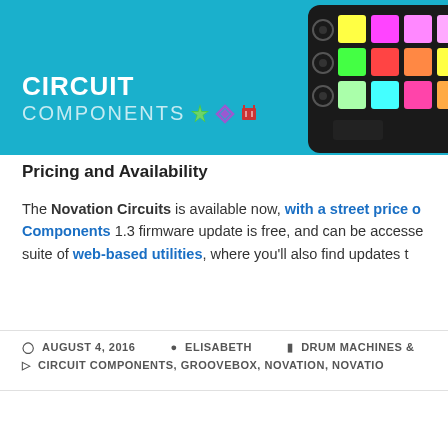[Figure (photo): Circuit Components banner with teal/cyan background showing the Novation Circuit launchpad device on the right side with colorful RGB pads. Text reads CIRCUIT COMPONENTS with colored icons (green starburst, purple diamond, red capacitor symbol).]
Pricing and Availability
The Novation Circuits is available now, with a street price o[f...] Components 1.3 firmware update is free, and can be accesse[d via the] suite of web-based utilities, where you’ll also find updates t[o...]
AUGUST 4, 2016  ELISABETH  DRUM MACHINES &  CIRCUIT COMPONENTS, GROOVEBOX, NOVATION, NOVATIO[N...]